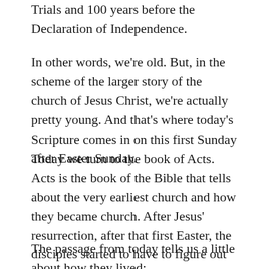Trials and 100 years before the Declaration of Independence.
In other words, we're old. But, in the scheme of the larger story of the church of Jesus Christ, we're actually pretty young. And that's where today's Scripture comes in on this first Sunday after Easter Sunday.
Today we turn to the book of Acts. Acts is the book of the Bible that tells about the very earliest church and how they became church. After Jesus' resurrection, after that first Easter, the disciples started to have to figure out how to live together and share this experience that they had with others. They became the very first church.
The passage from today tells us a little about how they lived: